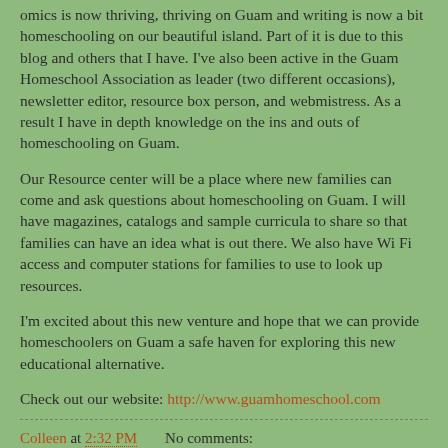omics is now thriving, thriving on Guam and writing is now a bit homeschooling on our beautiful island. Part of it is due to this blog and others that I have. I've also been active in the Guam Homeschool Association as leader (two different occasions), newsletter editor, resource box person, and webmistress. As a result I have in depth knowledge on the ins and outs of homeschooling on Guam.
Our Resource center will be a place where new families can come and ask questions about homeschooling on Guam. I will have magazines, catalogs and sample curricula to share so that families can have an idea what is out there. We also have Wi Fi access and computer stations for families to use to look up resources.
I'm excited about this new venture and hope that we can provide homeschoolers on Guam a safe haven for exploring this new educational alternative.
Check out our website: http://www.guamhomeschool.com
Colleen at 2:32 PM    No comments: